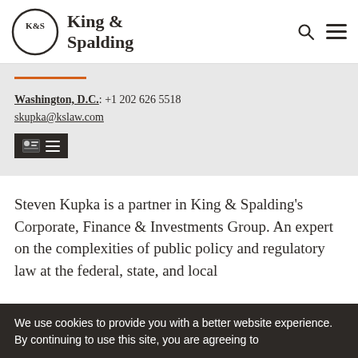King & Spalding
Washington, D.C.: +1 202 626 5518
skupka@kslaw.com
Steven Kupka is a partner in King & Spalding's Corporate, Finance & Investments Group. An expert on the complexities of public policy and regulatory law at the federal, state, and local
We use cookies to provide you with a better website experience. By continuing to use this site, you are agreeing to